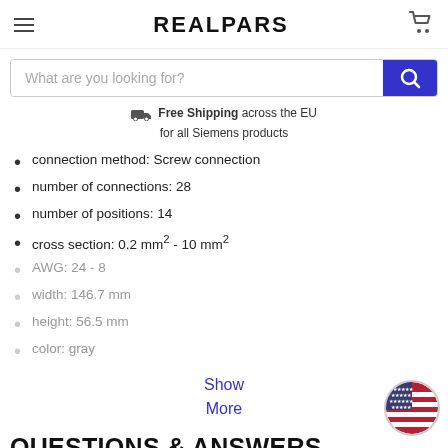REALPARS
[Figure (screenshot): Search bar with text 'What are you looking for?' and blue search button]
Free Shipping across the EU for all Siemens products
connection method: Screw connection
number of connections: 28
number of positions: 14
cross section: 0.2 mm² - 10 mm²
AWG: 24 - 8
width: 146.7 mm
height: 56.5 mm
color: gray
Show More
QUESTIONS & ANSWERS